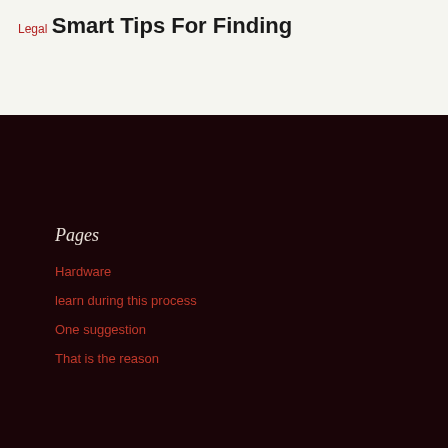Legal
Smart Tips For Finding
Pages
Hardware
learn during this process
One suggestion
That is the reason